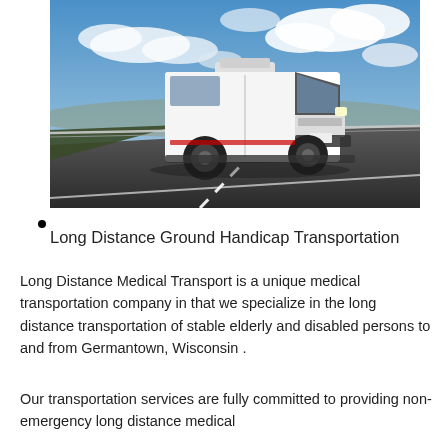[Figure (photo): A white high-roof cargo van driving on a highway under a partly cloudy blue sky, viewed from a low front-angle perspective.]
Long Distance Ground Handicap Transportation
Long Distance Medical Transport is a unique medical transportation company in that we specialize in the long distance transportation of stable elderly and disabled persons to and from Germantown, Wisconsin .
Our transportation services are fully committed to providing non-emergency long distance medical